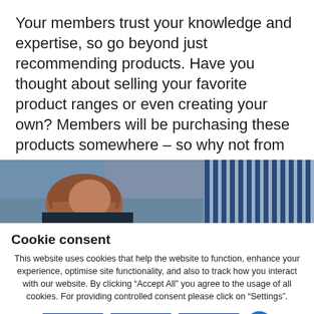Your members trust your knowledge and expertise, so go beyond just recommending products. Have you thought about selling your favorite product ranges or even creating your own? Members will be purchasing these products somewhere – so why not from you?
[Figure (photo): Partial photo of a person with blue/striped background, partially obscured by cookie consent overlay]
Cookie consent
This website uses cookies that help the website to function, enhance your experience, optimise site functionality, and also to track how you interact with our website. By clicking "Accept All" you agree to the usage of all cookies. For providing controlled consent please click on "Settings".